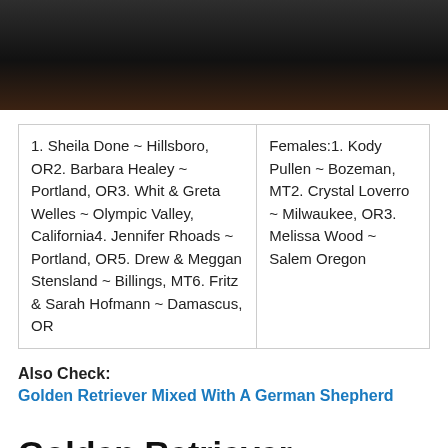[Figure (photo): Dark photo of a dog, partially visible at top of page]
| 1. Sheila Done ~ Hillsboro, OR2. Barbara Healey ~ Portland, OR3. Whit & Greta Welles ~ Olympic Valley, California4. Jennifer Rhoads ~ Portland, OR5. Drew & Meggan Stensland ~ Billings, MT6. Fritz & Sarah Hofmann ~ Damascus, OR | Females:1. Kody Pullen ~ Bozeman, MT2. Crystal Loverro ~ Milwaukee, OR3. Melissa Wood ~ Salem Oregon |
Also Check:
Golden Retriever Mixed With A German Shepherd
Golden Retriever Puppies For Sale